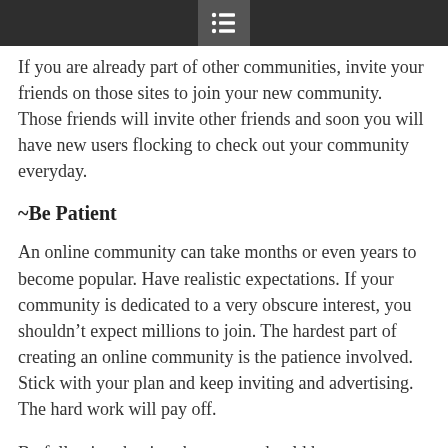[menu icon]
If you are already part of other communities, invite your friends on those sites to join your new community. Those friends will invite other friends and soon you will have new users flocking to check out your community everyday.
~Be Patient
An online community can take months or even years to become popular. Have realistic expectations. If your community is dedicated to a very obscure interest, you shouldn't expect millions to join. The hardest part of creating an online community is the patience involved. Stick with your plan and keep inviting and advertising. The hard work will pay off.
By following the tips above, you should have no problem starting your very own social network. It's a great way to